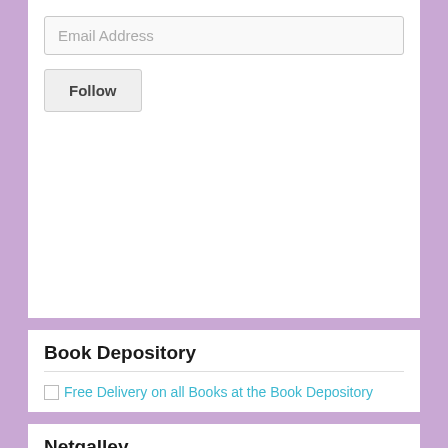[Figure (screenshot): Email address input field with placeholder text 'Email Address']
[Figure (screenshot): Follow button - gray rounded rectangle button with bold text 'Follow']
Book Depository
Free Delivery on all Books at the Book Depository
Netgalley
[Figure (logo): Netgalley Member Professional Reader circular badge - green and white logo with circular text]
[Figure (logo): Partial view of two more badges at the bottom of the page]